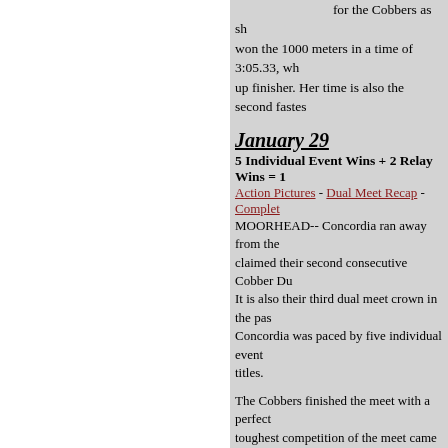for the Cobbers as she won the 1000 meters in a time of 3:05.33, wh... up finisher. Her time is also the second fastes...
January 29
5 Individual Event Wins + 2 Relay Wins = 1
Action Pictures - Dual Meet Recap - Complet...
MOORHEAD-- Concordia ran away from the claimed their second consecutive Cobber Du... It is also their third dual meet crown in the pas... Concordia was paced by five individual event... titles.
The Cobbers finished the meet with a perfect toughest competition of the meet came from Jamestown College. The Cobbers beat the Ji 88 margin. Concordia also posted wins over Morris. Jamestown finished second at the me...
January 28
Complete Results From Cobber Pentathl...
- Complete Cobber Pentathlon Results.
January 21
Cobbers Open 2004-05 Season With a Ban Open.
- Complete Bison Open Results.
January 15